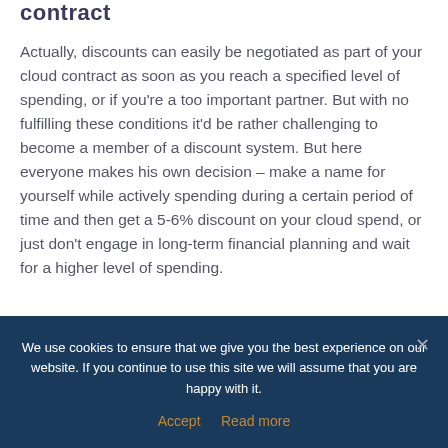contract
Actually, discounts can easily be negotiated as part of your cloud contract as soon as you reach a specified level of spending, or if you're a too important partner. But with no fulfilling these conditions it'd be rather challenging to become a member of a discount system. But here everyone makes his own decision – make a name for yourself while actively spending during a certain period of time and then get a 5-6% discount on your cloud spend, or just don't engage in long-term financial planning and wait for a higher level of spending.
We use cookies to ensure that we give you the best experience on our website. If you continue to use this site we will assume that you are happy with it.
Accept   Read more